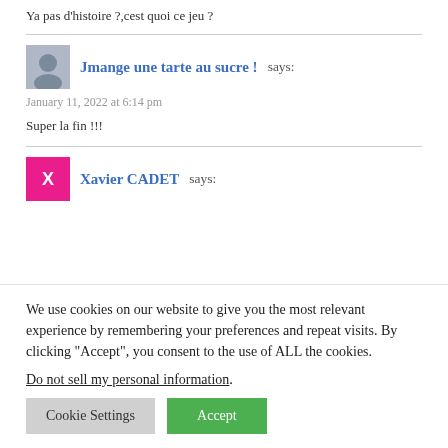Ya pas d'histoire ?,cest quoi ce jeu ?
Jmange une tarte au sucre !  says:
January 11, 2022 at 6:14 pm

Super la fin !!!
Xavier CADET  says:
We use cookies on our website to give you the most relevant experience by remembering your preferences and repeat visits. By clicking “Accept”, you consent to the use of ALL the cookies.
Do not sell my personal information.
Cookie Settings  Accept